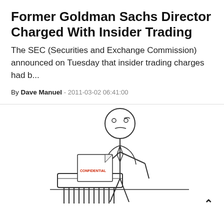Former Goldman Sachs Director Charged With Insider Trading
The SEC (Securities and Exchange Commission) announced on Tuesday that insider trading charges had b...
By Dave Manuel - 2011-03-02 06:41:00
[Figure (illustration): Stick figure illustration of a person with a worried expression, wearing a tie, feeding a document labeled 'CONFIDENTIAL' into a paper shredder.]